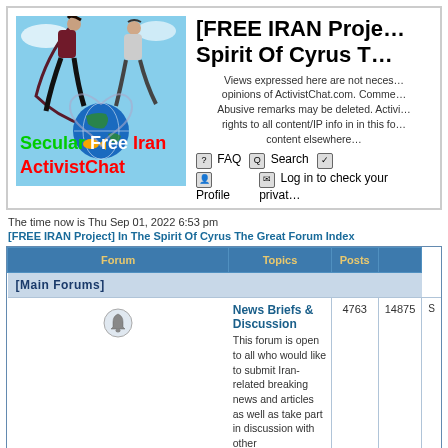[Figure (logo): Secular Free Iran ActivistChat logo with two people forming a heart shape around a globe, sky blue background]
[FREE IRAN Project] In The Spirit Of Cyrus T
Views expressed here are not necessarily the opinions of ActivistChat.com. Comments are welcome. Abusive remarks may be deleted. ActivistChat.com rights to all content/IP info in in this forum. Re-posting content elsewhere
FAQ  Search  Profile  Log in to check your private messages
The time now is Thu Sep 01, 2022 6:53 pm
[FREE IRAN Project] In The Spirit Of Cyrus The Great Forum Index
| Forum | Topics | Posts |
| --- | --- | --- |
| [Main Forums] |  |  |
| News Briefs & Discussion
This forum is open to all who would like to submit Iran-related breaking news and articles as well as take part in discussion with other ActivistChat.com members. | 4763 | 14875 |
| General Discussion & Announcements
This is a general discussion where people can start discussions about anything Iran-related. We also | 1459 | 8589 |